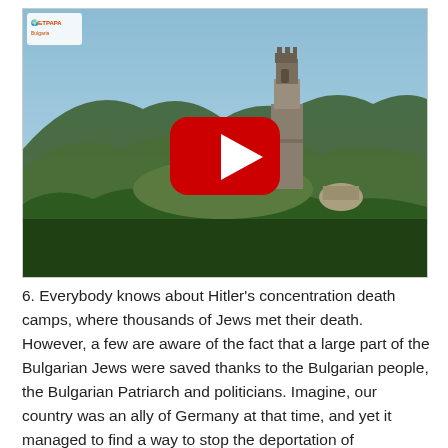[Figure (screenshot): YouTube video thumbnail showing an aerial view of a mountain peak with a tall stone monument/tower surrounded by forest and buildings, with a YouTube play button overlay and a small logo in the top-left corner.]
6. Everybody knows about Hitler's concentration death camps, where thousands of Jews met their death. However, a few are aware of the fact that a large part of the Bulgarian Jews were saved thanks to the Bulgarian people, the Bulgarian Patriarch and politicians. Imagine, our country was an ally of Germany at that time, and yet it managed to find a way to stop the deportation of